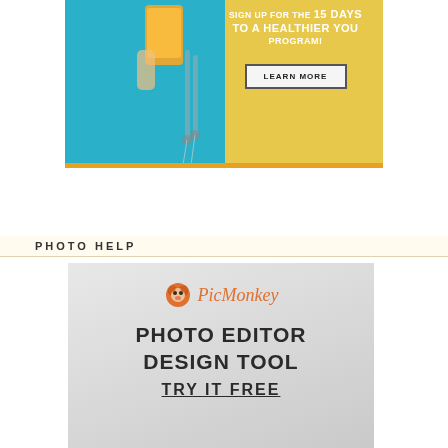[Figure (advertisement): Health program advertisement banner with orange/yellow background, person holding orange juice glass on left, text: SIGN UP FOR THE 15 DAYS TO A HEALTHIER YOU PROGRAM! with LEARN MORE button]
PHOTO HELP
[Figure (advertisement): PicMonkey advertisement with logo (monkey icon and PicMonkey wordmark in orange), text: PHOTO EDITOR DESIGN TOOL TRY IT FREE on a light gray background]